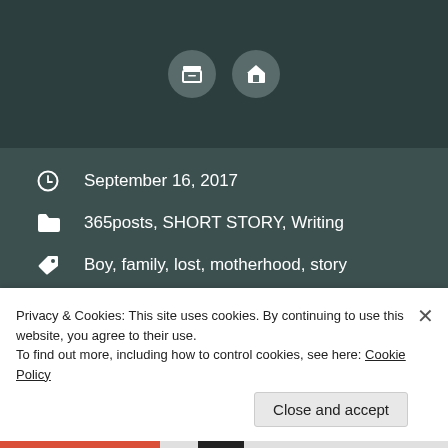[Figure (screenshot): Top navigation bar with dark teal background containing two circular icon buttons: an archive/box icon and a home icon]
September 16, 2017
365posts, SHORT STORY, Writing
Boy, family, lost, motherhood, story
Previous post
Next post
Privacy & Cookies: This site uses cookies. By continuing to use this website, you agree to their use.
To find out more, including how to control cookies, see here: Cookie Policy
Close and accept